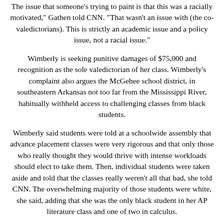The issue that someone's trying to paint is that this was a racially motivated," Gathen told CNN. "That wasn't an issue with (the co-valedictorians). This is strictly an academic issue and a policy issue, not a racial issue."
Wimberly is seeking punitive damages of $75,000 and recognition as the sole valedictorian of her class. Wimberly's complaint also argues the McGehee school district, in southeastern Arkansas not too far from the Mississippi River, habitually withheld access to challenging classes from black students.
Wimberly said students were told at a schoolwide assembly that advance placement classes were very rigorous and that only those who really thought they would thrive with intense workloads should elect to take them. Then, individual students were taken aside and told that the classes really weren't all that bad, she told CNN. The overwhelming majority of those students were white, she said, adding that she was the only black student in her AP literature class and one of two in calculus.
“Black students are meant to stay in regular course levels and mostly play sports,” Wimberly said. “That’s what were good at that that’s what we should stick to - that’s the mentality of McGehee.”
Wimberly said she had one teacher, for AP biology, who encouraged all students to take the class. Its racial makeup was half